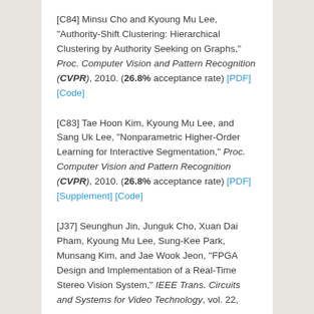[C84] Minsu Cho and Kyoung Mu Lee, "Authority-Shift Clustering: Hierarchical Clustering by Authority Seeking on Graphs," Proc. Computer Vision and Pattern Recognition (CVPR), 2010. (26.8% acceptance rate) [PDF] [Code]
[C83] Tae Hoon Kim, Kyoung Mu Lee, and Sang Uk Lee, "Nonparametric Higher-Order Learning for Interactive Segmentation," Proc. Computer Vision and Pattern Recognition (CVPR), 2010. (26.8% acceptance rate) [PDF] [Supplement] [Code]
[J37] Seunghun Jin, Junguk Cho, Xuan Dai Pham, Kyoung Mu Lee, Sung-Kee Park, Munsang Kim, and Jae Wook Jeon, "FPGA Design and Implementation of a Real-Time Stereo Vision System," IEEE Trans. Circuits and Systems for Video Technology, vol. 22...